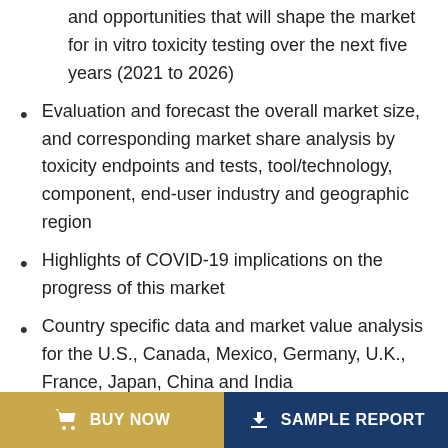and opportunities that will shape the market for in vitro toxicity testing over the next five years (2021 to 2026)
Evaluation and forecast the overall market size, and corresponding market share analysis by toxicity endpoints and tests, tool/technology, component, end-user industry and geographic region
Highlights of COVID-19 implications on the progress of this market
Country specific data and market value analysis for the U.S., Canada, Mexico, Germany, U.K., France, Japan, China and India
Review of key technology developments, latest market trends, and other influential factors such as validation
BUY NOW   SAMPLE REPORT